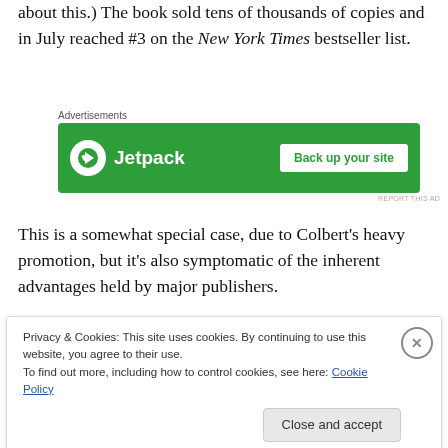about this.) The book sold tens of thousands of copies and in July reached #3 on the New York Times bestseller list.
[Figure (other): Jetpack advertisement banner with green background, Jetpack logo on left, and 'Back up your site' button on right]
This is a somewhat special case, due to Colbert's heavy promotion, but it's also symptomatic of the inherent advantages held by major publishers.
What creates those advantages? A number of things. First, major publishers have more money for promotion than
Privacy & Cookies: This site uses cookies. By continuing to use this website, you agree to their use.
To find out more, including how to control cookies, see here: Cookie Policy